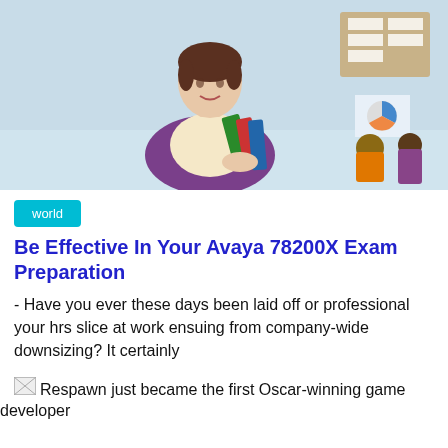[Figure (photo): A smiling female teacher with short brown hair wearing a purple cardigan, holding green books/folders, standing in a classroom with children in the background and a bulletin board on the wall.]
world
Be Effective In Your Avaya 78200X Exam Preparation
- Have you ever these days been laid off or professional your hrs slice at work ensuing from company-wide downsizing? It certainly
[Figure (photo): Small broken image placeholder icon]
Respawn just became the first Oscar-winning game developer